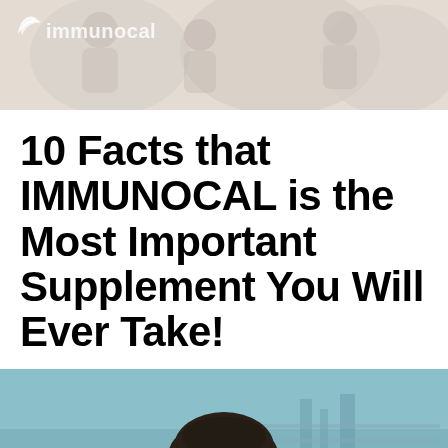[Figure (photo): Header banner with blurred background showing people, with Immunocal logo/text overlay at top left]
10 Facts that IMMUNOCAL is the Most Important Supplement You Will Ever Take!
[Figure (photo): Photo of a young man with dark curly hair holding a blue Immunocal supplement packet, outdoors with blurred background]